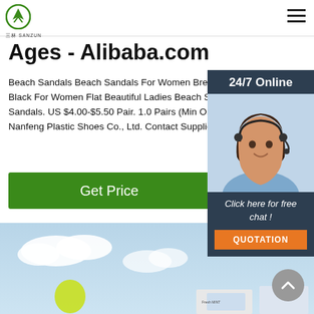Sanzun logo and navigation
Ages - Alibaba.com
Beach Sandals Beach Sandals For Women Breathable Bl... Black For Women Flat Beautiful Ladies Beach Sli... Sandals. US $4.00-$5.50 Pair. 1.0 Pairs (Min Orde... Nanfeng Plastic Shoes Co., Ltd. Contact Supplier
[Figure (other): Green 'Get Price' button]
[Figure (other): Chat widget showing '24/7 Online' with customer service representative photo, 'Click here for free chat!' text and orange QUOTATION button]
[Figure (photo): Light blue sky background with white clouds and product packages at the bottom]
[Figure (other): Grey circular scroll-to-top button with upward chevron]